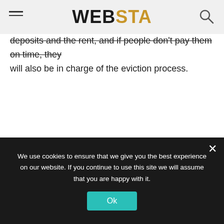WEBSTA
deposits and the rent, and if people don't pay them on time, they will also be in charge of the eviction process.
We use cookies to ensure that we give you the best experience on our website. If you continue to use this site we will assume that you are happy with it.